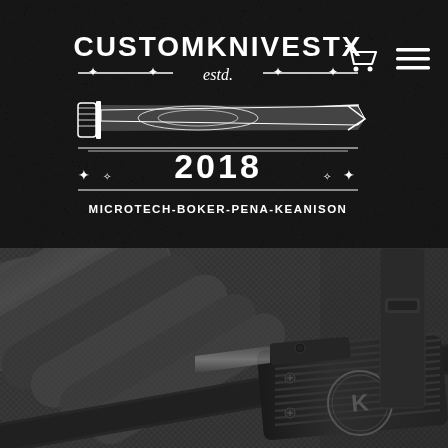[Figure (logo): CustomKnivesTX logo: circular badge design with text CUSTOMKNIVESTX at top, estd. in middle, a dagger/knife illustration, year 2018, and MICROTECH-BOKER-PENA-KEANISON at bottom, all in white on dark background]
[Figure (photo): Close-up photo of dark gray/black woven paracord rope strands arranged diagonally, with a black Microtech automatic knife visible in the lower right corner resting on dark tactical nylon material]
[Figure (illustration): Shopping cart icon and hamburger menu icon in white, used as navigation elements in top right header area]